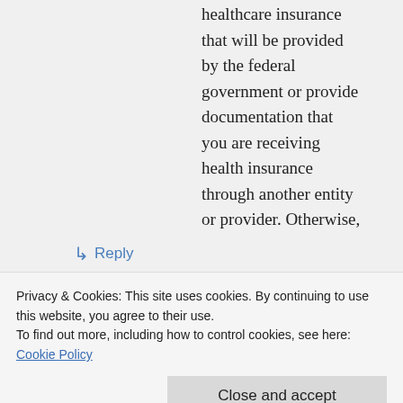healthcare insurance that will be provided by the federal government or provide documentation that you are receiving health insurance through another entity or provider. Otherwise, you will be subject to the tax. I think what they should have said instead is that it's a tax, not a punishment.
↳ Reply
physicsandwhiskey on May 30, 2013
Privacy & Cookies: This site uses cookies. By continuing to use this website, you agree to their use.
To find out more, including how to control cookies, see here: Cookie Policy